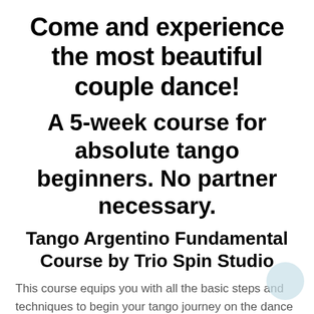Come and experience the most beautiful couple dance!
A 5-week course for absolute tango beginners. No partner necessary.
Tango Argentino Fundamental Course by Trio Spin Studio
This course equips you with all the basic steps and techniques to begin your tango journey on the dance